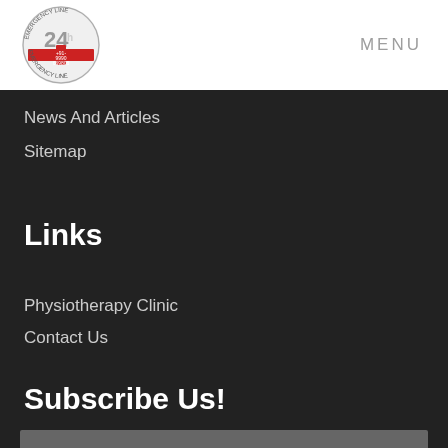MENU
[Figure (logo): Emergency Line 24 hours circular logo with red cross and phone number +91-9990-669808]
News And Articles
Sitemap
Links
Physiotherapy Clinic
Contact Us
Subscribe Us!